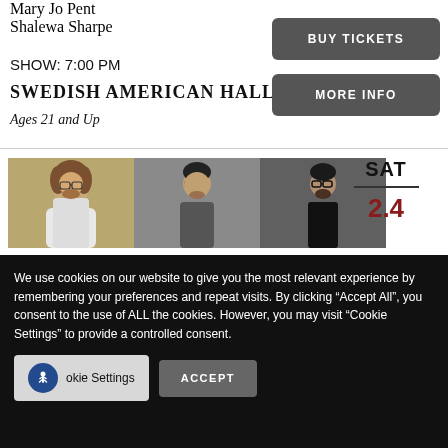Mary Jo Pent
Shalewa Sharpe
SHOW: 7:00 PM
SWEDISH AMERICAN HALL
Ages 21 and Up
BUY TICKETS
MORE INFO
[Figure (photo): Three headshot photos of performers side by side]
SAT
2.4
We use cookies on our website to give you the most relevant experience by remembering your preferences and repeat visits. By clicking “Accept All”, you consent to the use of ALL the cookies. However, you may visit "Cookie Settings" to provide a controlled consent.
Cookie Settings
ACCEPT